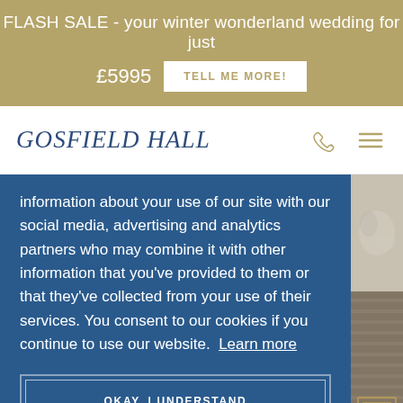FLASH SALE - your winter wonderland wedding for just £5995  TELL ME MORE!
GOSFIELD HALL
information about your use of our site with our social media, advertising and analytics partners who may combine it with other information that you've provided to them or that they've collected from your use of their services. You consent to our cookies if you continue to use our website. Learn more
OKAY, I UNDERSTAND